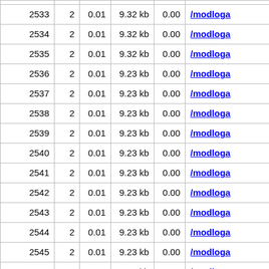|  |  |  |  |  |  |
| --- | --- | --- | --- | --- | --- |
| 2533 | 2 | 0.01 | 9.32 kb | 0.00 | /modloga |
| 2534 | 2 | 0.01 | 9.32 kb | 0.00 | /modloga |
| 2535 | 2 | 0.01 | 9.32 kb | 0.00 | /modloga |
| 2536 | 2 | 0.01 | 9.23 kb | 0.00 | /modloga |
| 2537 | 2 | 0.01 | 9.23 kb | 0.00 | /modloga |
| 2538 | 2 | 0.01 | 9.23 kb | 0.00 | /modloga |
| 2539 | 2 | 0.01 | 9.23 kb | 0.00 | /modloga |
| 2540 | 2 | 0.01 | 9.23 kb | 0.00 | /modloga |
| 2541 | 2 | 0.01 | 9.23 kb | 0.00 | /modloga |
| 2542 | 2 | 0.01 | 9.23 kb | 0.00 | /modloga |
| 2543 | 2 | 0.01 | 9.23 kb | 0.00 | /modloga |
| 2544 | 2 | 0.01 | 9.23 kb | 0.00 | /modloga |
| 2545 | 2 | 0.01 | 9.23 kb | 0.00 | /modloga |
| 2546 | 2 | 0.01 | 9.23 kb | 0.00 | /modloga |
| 2547 | 2 | 0.01 | 9.23 kb | 0.00 | /modloga |
| 2548 | 2 | 0.01 | 9.23 kb | 0.00 | /modloga |
| 2549 | 2 | 0.01 | 9.23 kb | 0.00 | /modloga |